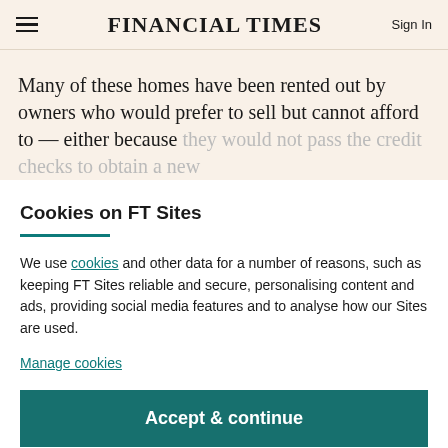FINANCIAL TIMES
Many of these homes have been rented out by owners who would prefer to sell but cannot afford to — either because they would not pass the credit checks to obtain a new
Cookies on FT Sites
We use cookies and other data for a number of reasons, such as keeping FT Sites reliable and secure, personalising content and ads, providing social media features and to analyse how our Sites are used.
Manage cookies
Accept & continue